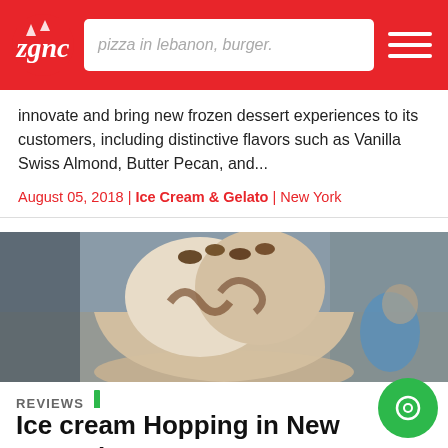zgnc — pizza in lebanon, burger.
innovate and bring new frozen dessert experiences to its customers, including distinctive flavors such as Vanilla Swiss Almond, Butter Pecan, and...
August 05, 2018 | Ice Cream & Gelato | New York
[Figure (photo): Close-up of ice cream scoops in a clear plastic cup, photographed outdoors on a city street]
REVIEWS
Ice cream Hopping in New York Choose Haagen-Dazs
Ice cream, an all-time favorite has become a